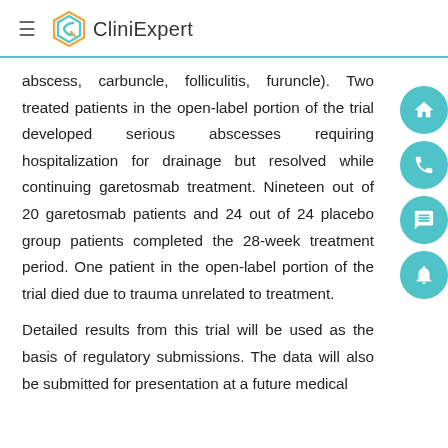CliniExpert
abscess, carbuncle, folliculitis, furuncle). Two treated patients in the open-label portion of the trial developed serious abscesses requiring hospitalization for drainage but resolved while continuing garetosmab treatment. Nineteen out of 20 garetosmab patients and 24 out of 24 placebo group patients completed the 28-week treatment period. One patient in the open-label portion of the trial died due to trauma unrelated to treatment.
Detailed results from this trial will be used as the basis of regulatory submissions. The data will also be submitted for presentation at a future medical